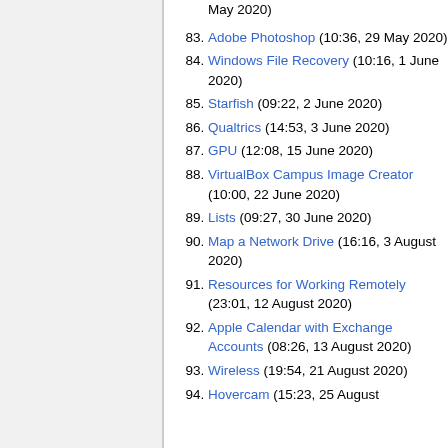83. Adobe Photoshop (10:36, 29 May 2020)
84. Windows File Recovery (10:16, 1 June 2020)
85. Starfish (09:22, 2 June 2020)
86. Qualtrics (14:53, 3 June 2020)
87. GPU (12:08, 15 June 2020)
88. VirtualBox Campus Image Creator (10:00, 22 June 2020)
89. Lists (09:27, 30 June 2020)
90. Map a Network Drive (16:16, 3 August 2020)
91. Resources for Working Remotely (23:01, 12 August 2020)
92. Apple Calendar with Exchange Accounts (08:26, 13 August 2020)
93. Wireless (19:54, 21 August 2020)
94. Hovercam (15:23, 25 August